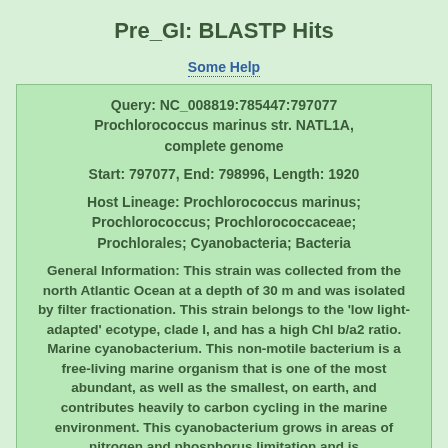Pre_GI: BLASTP Hits
Some Help
Query: NC_008819:785447:797077 Prochlorococcus marinus str. NATL1A, complete genome

Start: 797077, End: 798996, Length: 1920

Host Lineage: Prochlorococcus marinus; Prochlorococcus; Prochlorococcaceae; Prochlorales; Cyanobacteria; Bacteria

General Information: This strain was collected from the north Atlantic Ocean at a depth of 30 m and was isolated by filter fractionation. This strain belongs to the 'low light-adapted' ecotype, clade I, and has a high Chl b/a2 ratio. Marine cyanobacterium. This non-motile bacterium is a free-living marine organism that is one of the most abundant, as well as the smallest, on earth, and contributes heavily to carbon cycling in the marine environment. This cyanobacterium grows in areas of nitrogen and phosphorus limitation and is